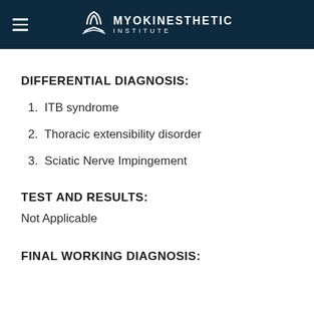Myokinesthetic Institute
DIFFERENTIAL DIAGNOSIS:
1. ITB syndrome
2. Thoracic extensibility disorder
3. Sciatic Nerve Impingement
TEST AND RESULTS:
Not Applicable
FINAL WORKING DIAGNOSIS: